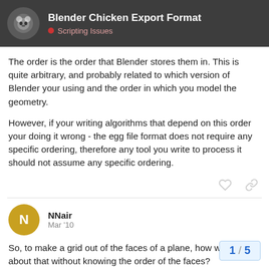Blender Chicken Export Format — Scripting Issues
The order is the order that Blender stores them in. This is quite arbitrary, and probably related to which version of Blender your using and the order in which you model the geometry.
However, if your writing algorithms that depend on this order your doing it wrong - the egg file format does not require any specific ordering, therefore any tool you write to process it should not assume any specific ordering.
NNair  Mar '10
So, to make a grid out of the faces of a plane, how would I go about that without knowing the order of the faces?